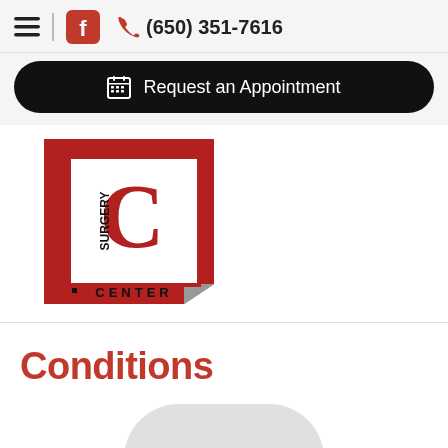☰ | f  (650) 351-7616
Request an Appointment
[Figure (logo): Surgery Center logo: red cube shape with white square inset, large red letter C, text SURGERY on left side vertically, CENTER along bottom]
Conditions